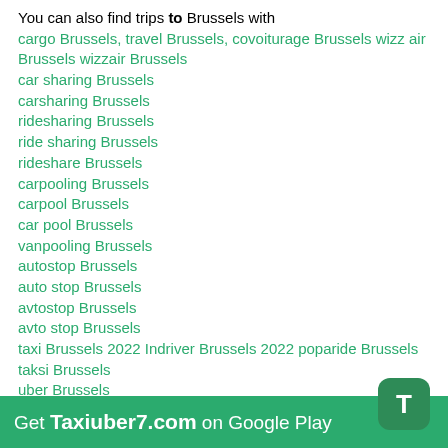You can also find trips to Brussels with cargo Brussels, travel Brussels, covoiturage Brussels wizz air Brussels wizzair Brussels car sharing Brussels carsharing Brussels ridesharing Brussels ride sharing Brussels rideshare Brussels carpooling Brussels carpool Brussels car pool Brussels vanpooling Brussels autostop Brussels auto stop Brussels avtostop Brussels avto stop Brussels taxi Brussels 2022 Indriver Brussels 2022 poparide Brussels taksi Brussels uber Brussels hitchhiking Brussels mitfahrgelegenheit Brussels бла бла такси Brussels, plaplacar Brussels блаблатакси Brussels едем рф найти поездку как пассажир попутчики из Brussels попутчик онлайн Brussels бла бла car Brusselsblabla кар
[Figure (other): Green app download banner with T icon: Get Taxiuber7.com on Google Play]